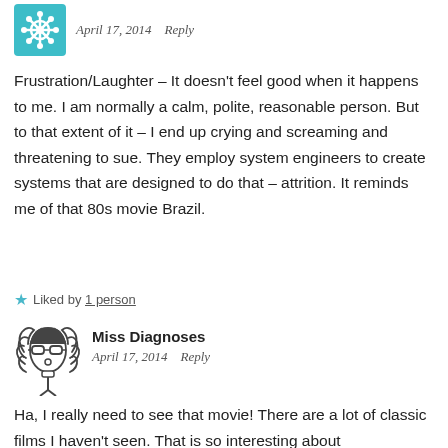[Figure (illustration): Teal/green decorative avatar icon with floral/star pattern, used as commenter profile picture]
April 17, 2014   Reply
Frustration/Laughter – It doesn't feel good when it happens to me. I am normally a calm, polite, reasonable person. But to that extent of it – I end up crying and screaming and threatening to sue. They employ system engineers to create systems that are designed to do that – attrition. It reminds me of that 80s movie Brazil.
★ Liked by 1 person
[Figure (illustration): Hand-drawn sketch avatar of a woman with curly hair and glasses, used as commenter profile picture for Miss Diagnoses]
Miss Diagnoses
April 17, 2014   Reply
Ha, I really need to see that movie! There are a lot of classic films I haven't seen. That is so interesting about